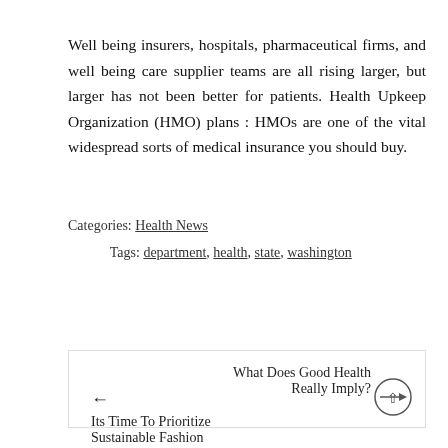Well being insurers, hospitals, pharmaceutical firms, and well being care supplier teams are all rising larger, but larger has not been better for patients. Health Upkeep Organization (HMO) plans : HMOs are one of the vital widespread sorts of medical insurance you should buy.
Categories: Health News
Tags: department, health, state, washington
← Its Time To Prioritize Sustainable Fashion
What Does Good Health Really Imply? →